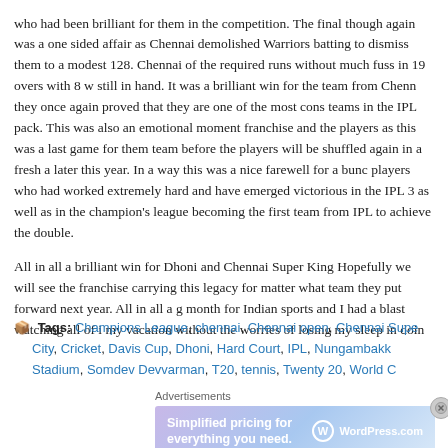who had been brilliant for them in the competition. The final though again was a one sided affair as Chennai demolished Warriors batting to dismiss them to a modest 128. Chennai of the required runs without much fuss in 19 overs with 8 w still in hand. It was a brilliant win for the team from Chenn they once again proved that they are one of the most cons teams in the IPL pack. This was also an emotional moment franchise and the players as this was a last game for them team before the players will be shuffled again in a fresh a later this year. In a way this was a nice farewell for a bunc players who had worked extremely hard and have emerged victorious in the IPL 3 as well as in the champion's league becoming the first team from IPL to achieve the double.
All in all a brilliant win for Dhoni and Chennai Super King Hopefully we will see the franchise carrying this legacy for matter what team they put forward next year. All in all a g month for Indian sports and I had a blast watching all of i my vacation without the worries of losing my sleep in doin
Tags: Champions League, chennai, Chennai open, Chennai Supe City, Cricket, Davis Cup, Dhoni, Hard Court, IPL, Nungambakk Stadium, Somdev Devvarman, T20, tennis, Twenty 20, World C
[Figure (other): WordPress.com advertisement banner with text 'Simplified pricing for everything you need.']